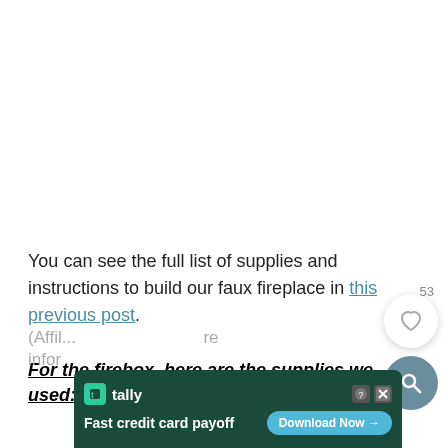You can see the full list of supplies and instructions to build our faux fireplace in this previous post.
For the firebox, here are the supplies we used:
(Affili... [partial] ...re info...
[Figure (screenshot): Advertisement banner for Tally app: 'Fast credit card payoff' with Download Now button on dark green background]